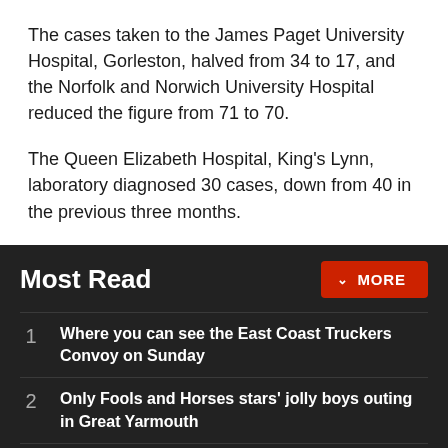The cases taken to the James Paget University Hospital, Gorleston, halved from 34 to 17, and the Norfolk and Norwich University Hospital reduced the figure from 71 to 70.
The Queen Elizabeth Hospital, King's Lynn, laboratory diagnosed 30 cases, down from 40 in the previous three months.
Most Read
1. Where you can see the East Coast Truckers Convoy on Sunday
2. Only Fools and Horses stars' jolly boys outing in Great Yarmouth
3. A day in the life of South Yarmouth's policeman
Receive the top news, sport and things to do, sent to your...